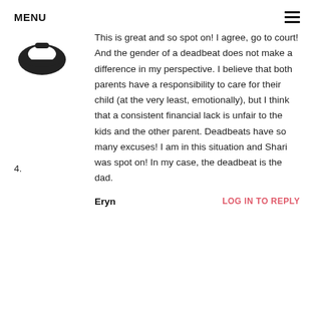MENU
[Figure (illustration): User avatar icon — dark bowl or mustache shape silhouette]
This is great and so spot on! I agree, go to court! And the gender of a deadbeat does not make a difference in my perspective. I believe that both parents have a responsibility to care for their child (at the very least, emotionally), but I think that a consistent financial lack is unfair to the kids and the other parent. Deadbeats have so many excuses! I am in this situation and Shari was spot on! In my case, the deadbeat is the dad.
4.
Eryn   LOG IN TO REPLY